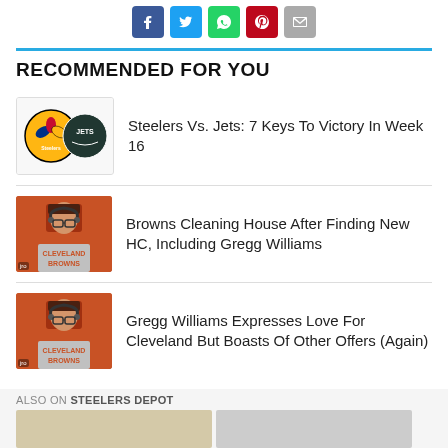[Figure (other): Social share buttons row: Facebook (blue), Twitter (light blue), WhatsApp (green), Pinterest (red), Email (gray)]
RECOMMENDED FOR YOU
Steelers Vs. Jets: 7 Keys To Victory In Week 16
Browns Cleaning House After Finding New HC, Including Gregg Williams
Gregg Williams Expresses Love For Cleveland But Boasts Of Other Offers (Again)
ALSO ON STEELERS DEPOT